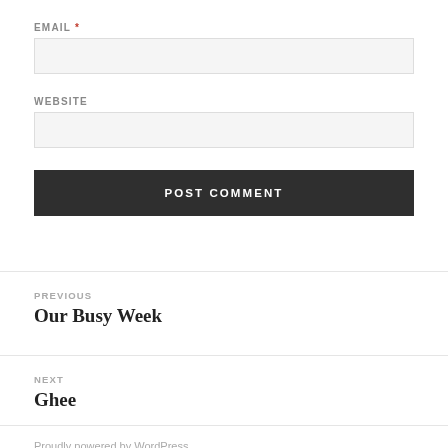EMAIL *
WEBSITE
POST COMMENT
PREVIOUS
Our Busy Week
NEXT
Ghee
Proudly powered by WordPress